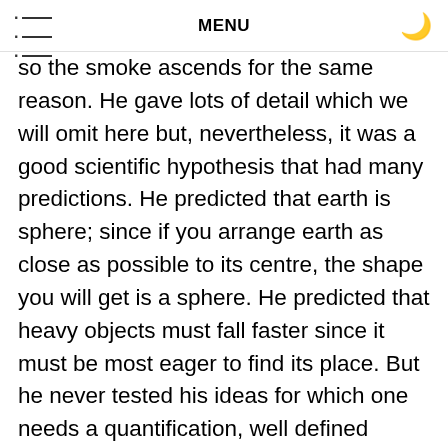MENU
so the smoke ascends for the same reason. He gave lots of detail which we will omit here but, nevertheless, it was a good scientific hypothesis that had many predictions. He predicted that earth is sphere; since if you arrange earth as close as possible to its centre, the shape you will get is a sphere. He predicted that heavy objects must fall faster since it must be most eager to find its place. But he never tested his ideas for which one needs a quantification, well defined concepts and measuring tools, i.e., one is not only interested in just the behaviour such as rapidly falling but rather seeking quantitative behaviour, for example, measuring how much time it takes for a stone to fall. Hence,